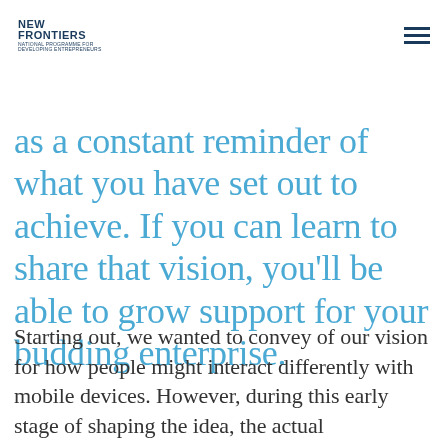NEW FRONTIERS NATIONAL PROGRAMME FOR DEVELOPING ENTREPRENEURS
as a constant reminder of what you have set out to achieve. If you can learn to share that vision, you'll be able to grow support for your budding enterprise.
Starting out, we wanted to convey of our vision for how people might interact differently with mobile devices. However, during this early stage of shaping the idea, the actual